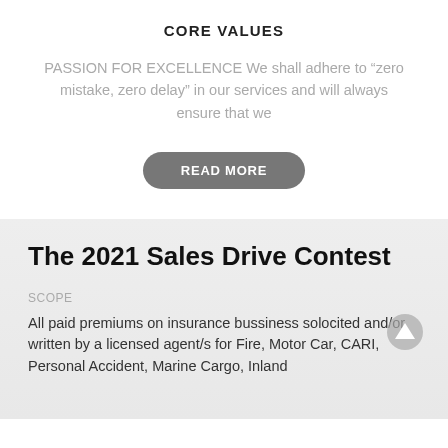CORE VALUES
PASSION FOR EXCELLENCE We shall adhere to “zero mistake, zero delay” in our services and will always ensure that we
[Figure (other): READ MORE button - rounded dark grey pill-shaped button with white text]
The 2021 Sales Drive Contest
SCOPE
All paid premiums on insurance bussiness solocited and/or written by a licensed agent/s for Fire, Motor Car, CARI, Personal Accident, Marine Cargo, Inland